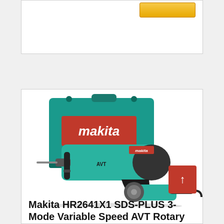[Figure (photo): Top portion of a product card showing an Add to Cart button (gold/yellow) in the upper right corner, partially visible.]
[Figure (photo): Makita HR2641X1 SDS-PLUS rotary hammer drill product photo showing a teal/blue Makita carrying case, the rotary hammer drill with side handle, and a small angle grinder. Makita branding visible on case and tools.]
Makita HR2641X1 SDS-PLUS 3-Mode Variable Speed AVT Rotary